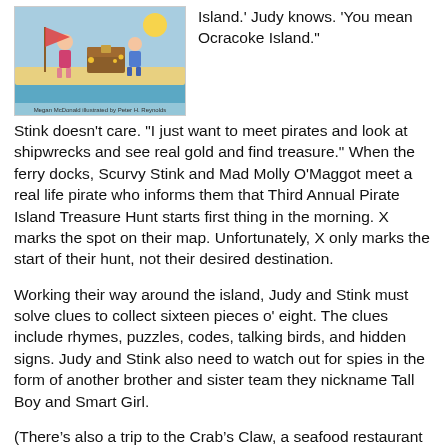[Figure (illustration): Book cover illustration showing children on a beach with a treasure chest, colorful cartoon style. Author name visible at bottom of cover.]
Island.' Judy knows. 'You mean Ocracoke Island.'

Stink doesn't care. "I just want to meet pirates and look at shipwrecks and see real gold and find treasure." When the ferry docks, Scurvy Stink and Mad Molly O'Maggot meet a real life pirate who informs them that Third Annual Pirate Island Treasure Hunt starts first thing in the morning. X marks the spot on their map. Unfortunately, X only marks the start of their hunt, not their desired destination.
Working their way around the island, Judy and Stink must solve clues to collect sixteen pieces o' eight. The clues include rhymes, puzzles, codes, talking birds, and hidden signs. Judy and Stink also need to watch out for spies in the form of another brother and sister team they nickname Tall Boy and Smart Girl.
(There's also a trip to the Crab's Claw, a seafood restaurant on Ocean View Road, which incidentally, would have been my downfall. “Maybe the next clue is inside this crab cake!” [Chomp] “Nope.”)